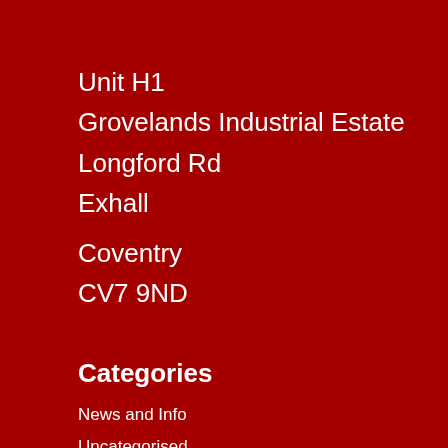Unit H1
Grovelands Industrial Estate
Longford Rd
Exhall
Coventry
CV7 9ND
Categories
News and Info
Uncategorised